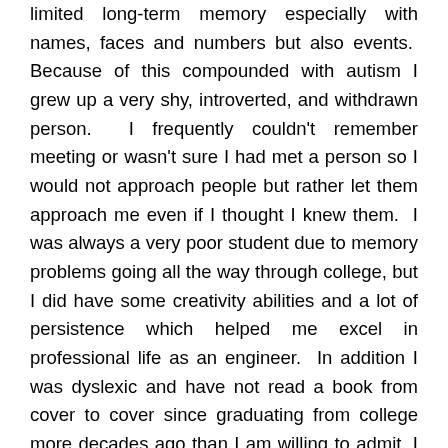limited long-term memory especially with names, faces and numbers but also events. Because of this compounded with autism I grew up a very shy, introverted, and withdrawn person. I frequently couldn't remember meeting or wasn't sure I had met a person so I would not approach people but rather let them approach me even if I thought I knew them. I was always a very poor student due to memory problems going all the way through college, but I did have some creativity abilities and a lot of persistence which helped me excel in professional life as an engineer. In addition I was dyslexic and have not read a book from cover to cover since graduating from college more decades ago than I am willing to admit. I can't spell hardly at all, thank goodness to spellcheckers these days.
My taste for food was also a bit unusual. I'm a picky eater. I preferred soft food with non-grainy textures. But I